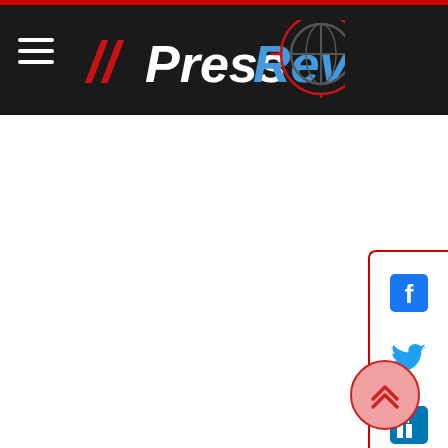PressReview24 website header with navigation menu and logo
[Figure (logo): PressReview24 logo with double slash, red and blue text, globe icon with crosshair on dark background]
[Figure (infographic): Social media sharing sidebar with Facebook, Twitter, LinkedIn, WhatsApp, and Pinterest icons in a red-bordered panel on the right side]
[Figure (other): Back to top button - circular button with chevron up arrows at bottom right]